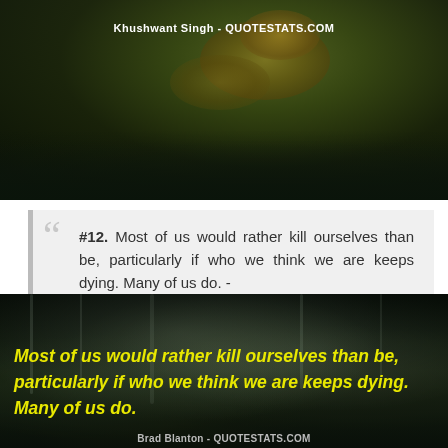[Figure (photo): Dark nature scene with trees reflected in water, night or dusk setting]
Khushwant Singh - QUOTESTATS.COM
#12. Most of us would rather kill ourselves than be, particularly if who we think we are keeps dying. Many of us do. - Author: Brad Blanton
[Figure (photo): Dark winter scene with frost-covered trees, with yellow italic quote text overlay]
Brad Blanton - QUOTESTATS.COM